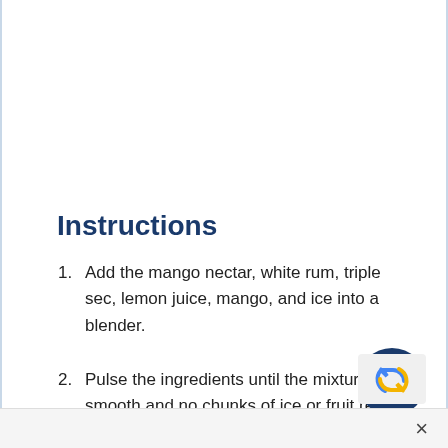Instructions
Add the mango nectar, white rum, triple sec, lemon juice, mango, and ice into a blender.
Pulse the ingredients until the mixture is smooth and no chunks of ice or fruit remain.
Taste the daiquiri for sweetness and tartness.
[Figure (other): Blue circular 'TOP' navigation button with upward chevron arrow]
[Figure (other): reCAPTCHA logo partially visible in bottom-right corner]
×